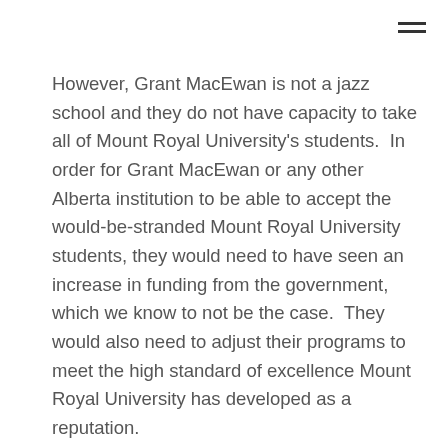However, Grant MacEwan is not a jazz school and they do not have capacity to take all of Mount Royal University's students.  In order for Grant MacEwan or any other Alberta institution to be able to accept the would-be-stranded Mount Royal University students, they would need to have seen an increase in funding from the government, which we know to not be the case.  They would also need to adjust their programs to meet the high standard of excellence Mount Royal University has developed as a reputation.
This equates to a loss of 120 student seats in theatre and music programs. Over the next year, this change will result in a loss of five full-time faculty members, two